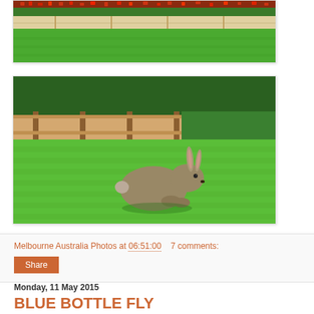[Figure (photo): Top portion of a garden photo showing trimmed hedges and red flowers with green lawn, stone wall/retaining border visible]
[Figure (photo): A brown rabbit sitting on bright green grass with a wooden fence/retaining wall and hedge in the background]
Melbourne Australia Photos at 06:51:00   7 comments:
Share
Monday, 11 May 2015
BLUE BOTTLE FLY